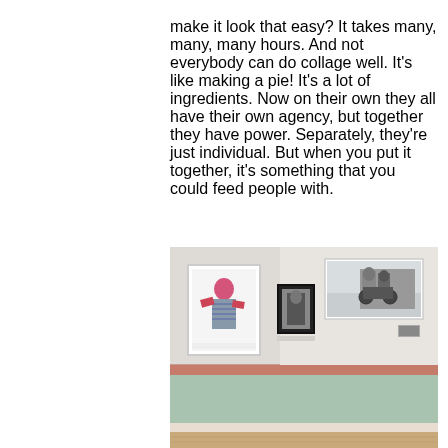make it look that easy? It takes many, many, many hours. And not everybody can do collage well. It's like making a pie! It's a lot of ingredients. Now on their own they all have their own agency, but together they have power. Separately, they're just individual. But when you put it together, it's something that you could feed people with.
[Figure (photo): Gallery installation view showing three artworks on walls painted coral/salmon on lower sections and white on upper sections, with a mint green wainscoting band. Left wall has a framed collage artwork of a figure, center wall has a small black-framed photograph, and right wall has a large panoramic artwork depicting figures on horseback or similar. Wooden floor visible at bottom.]